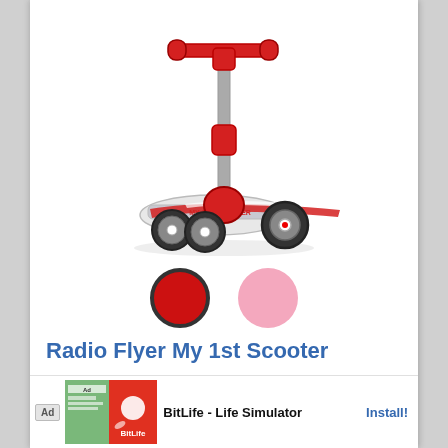[Figure (photo): Radio Flyer My 1st Scooter product photo — red and silver three-wheeled kids scooter with red T-bar handlebar, on white background. Below the scooter are two color swatches: a dark-bordered red circle and a pink circle.]
Radio Flyer My 1st Scooter
Radio Flyer My 1st Scooter is designed for toddlers ... helping their ...
[Figure (screenshot): Ad banner at bottom: 'Ad' badge, green/colorful BitLife app promotional images, BitLife logo, text 'BitLife - Life Simulator', and 'Install!' button link.]